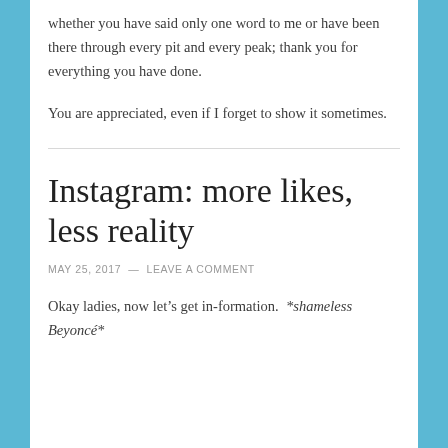whether you have said only one word to me or have been there through every pit and every peak; thank you for everything you have done.
You are appreciated, even if I forget to show it sometimes.
Instagram: more likes, less reality
MAY 25, 2017  —  LEAVE A COMMENT
Okay ladies, now let’s get in-formation.  *shameless Beyoncé*